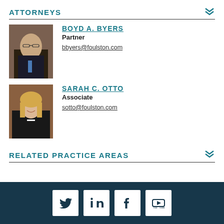ATTORNEYS
BOYD A. BYERS
Partner
bbyers@foulston.com
SARAH C. OTTO
Associate
sotto@foulston.com
RELATED PRACTICE AREAS
[Figure (other): Social media icons for Twitter, LinkedIn, Facebook, and YouTube in white boxes on dark teal footer bar]